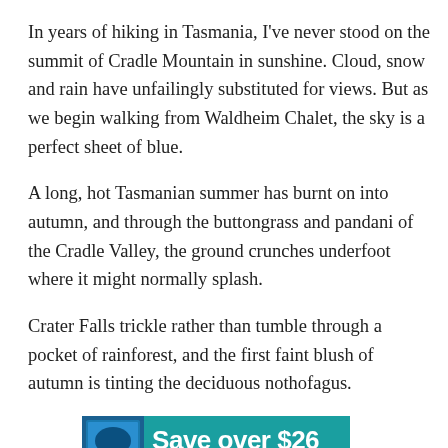In years of hiking in Tasmania, I've never stood on the summit of Cradle Mountain in sunshine. Cloud, snow and rain have unfailingly substituted for views. But as we begin walking from Waldheim Chalet, the sky is a perfect sheet of blue.
A long, hot Tasmanian summer has burnt on into autumn, and through the buttongrass and pandani of the Cradle Valley, the ground crunches underfoot where it might normally splash.
Crater Falls trickle rather than tumble through a pocket of rainforest, and the first faint blush of autumn is tinting the deciduous nothofagus.
[Figure (other): Advertisement banner with teal background. Shows a book cover on the left and text 'Save over $26' in large white bold font. Below: 'When you subscribe to Australian Geographic']